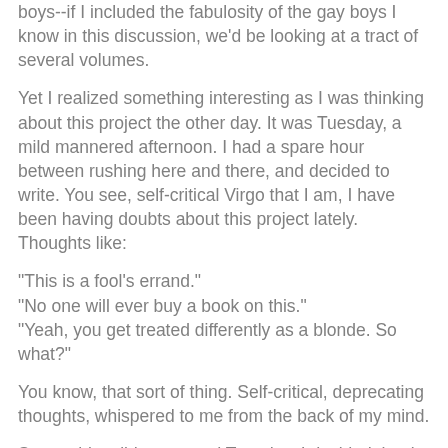boys--if I included the fabulosity of the gay boys I know in this discussion, we'd be looking at a tract of several volumes.
Yet I realized something interesting as I was thinking about this project the other day. It was Tuesday, a mild mannered afternoon. I had a spare hour between rushing here and there, and decided to write. You see, self-critical Virgo that I am, I have been having doubts about this project lately. Thoughts like:
"This is a fool's errand."
"No one will ever buy a book on this."
"Yeah, you get treated differently as a blonde. So what?"
You know, that sort of thing. Self-critical, deprecating thoughts, whispered to me from the back of my mind.
So, on this mild mannered Tuesday, I decided that it was time to have it out with these self-critical voices. I mean, really. Who were they to go around, getting all up inside my head and making me feel discouraged? I sat down with my journal, blank page open in front of me. It was time to take